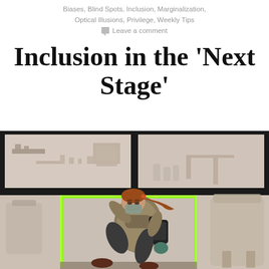Biases, Blind Spots, Inclusion, Marginalization, Optical Illusions, Privilege, Weekly Tips
Leave a comment
Inclusion in the ‘Next Stage’
[Figure (illustration): Illustration of a young woman with red hair in a ponytail, wearing a face mask, olive jacket, and carrying a backpack, leaping or running through a window frame highlighted in green. The background shows a room interior with furniture silhouettes in muted tones.]